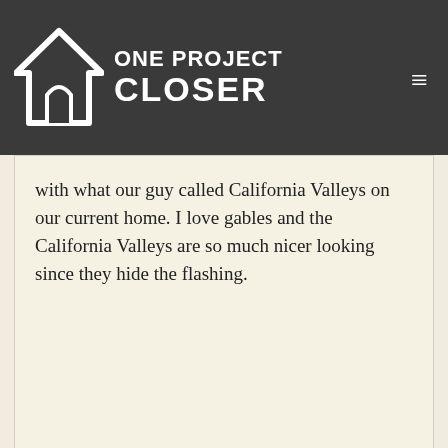One Project Closer
with what our guy called California Valleys on our current home. I love gables and the California Valleys are so much nicer looking since they hide the flashing.
[Figure (illustration): User avatar silhouette icon in gray]
Michael says:
December 7, 2011 at 2:07 pm
I'm looking into building a shed. I want to go with the Gambrel roof for more storage at the top. It looks more complicated to build than just a Gable roof. Does anyone know how much more complicated it is to build and approximately how much more it can cost in materials?